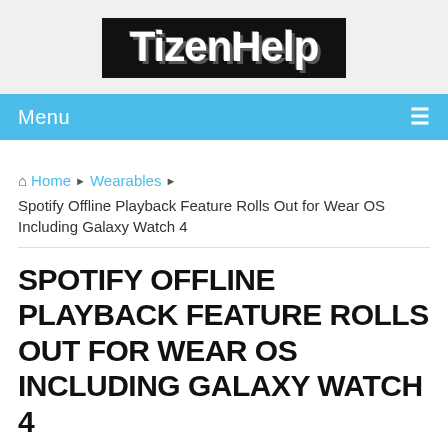[Figure (logo): TizenHelp logo — white bold text on black background]
Menu ≡
🏠 Home ▶ Wearables ▶
Spotify Offline Playback Feature Rolls Out for Wear OS Including Galaxy Watch 4
SPOTIFY OFFLINE PLAYBACK FEATURE ROLLS OUT FOR WEAR OS INCLUDING GALAXY WATCH 4
Madhav Biradar   August 24, 2021